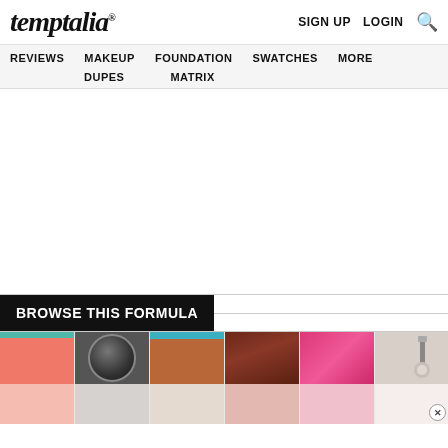temptalia® | SIGN UP | LOGIN | Search
REVIEWS | MAKEUP DUPES | FOUNDATION MATRIX | SWATCHES | MORE
BROWSE THIS FORMULA
[Figure (photo): Six product swatches in a horizontal row showing makeup products and their color payoff. Products include a coral/pink blush, a dark eyeshadow pan, a brown textured palette, a dark reddish-brown palette, a bright pink palette, and a brush/tool. Below each product image is a swatch of the color on a light/white background.]